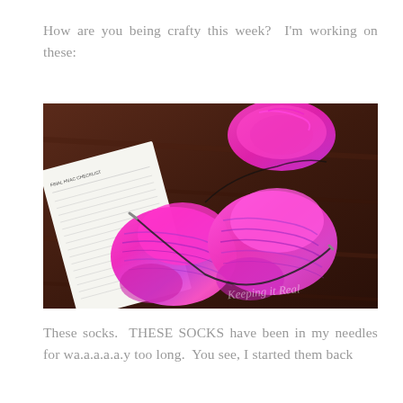How are you being crafty this week?  I'm working on these:
[Figure (photo): Two pink and purple hand-knitted socks in progress on circular needles, placed on a dark wooden table alongside a paper checklist document and a skein of pink yarn in the background. A watermark reads 'Keeping it Real'.]
These socks.  THESE SOCKS have been in my needles for wa.a.a.a.a.y too long.  You see, I started them back